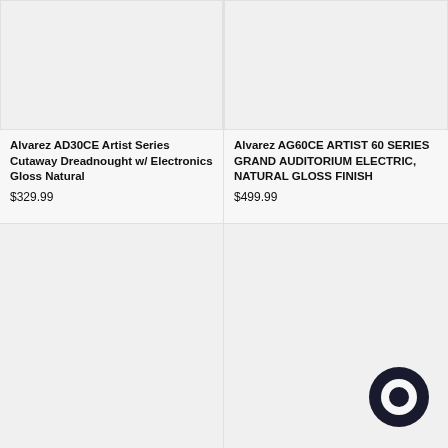[Figure (photo): Product image placeholder for Alvarez AD30CE guitar, light gray background]
Alvarez AD30CE Artist Series Cutaway Dreadnought w/ Electronics Gloss Natural
$329.99
[Figure (photo): Product image placeholder for Alvarez AG60CE guitar, light gray background]
Alvarez AG60CE ARTIST 60 SERIES GRAND AUDITORIUM ELECTRIC, NATURAL GLOSS FINISH
$499.99
[Figure (photo): Product image placeholder, bottom-left, light gray background]
[Figure (illustration): Chat bubble icon, dark circular shape in bottom-right area]